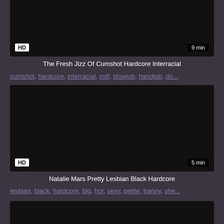[Figure (screenshot): Video thumbnail (top portion), dark/black background with HD badge and 9 min duration]
The Fresh Jizz Of Cumshot Hardcore Interracial
cumshot, hardcore, interracial, milf, blowjob, handjob, do...
[Figure (screenshot): Video thumbnail (full), dark/black background with HD badge and 5 min duration]
Natalie Mars Pretty Lesbian Black Hardcore
lesbian, black, hardcore, big, hot, sexy, petite, tranny, she...
[Figure (screenshot): Partial video thumbnail at bottom of page]